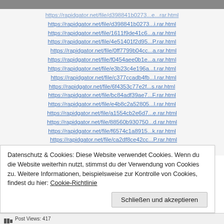https://rapidgator.net/file/d398841b0273...i.rar.html
https://rapidgator.net/file/1611f9de41c6...a.rar.html
https://rapidgator.net/file/4e51401f2d95...P.rar.html
https://rapidgator.net/file/0ff7799b04cc...a.rar.html
https://rapidgator.net/file/f0454aee0b1e...a.rar.html
https://rapidgator.net/file/e3b23c4e196a...t.rar.html
https://rapidgator.net/file/c377ccadb4fb...l.rar.html
https://rapidgator.net/file/6f4353c77e2f...s.rar.html
https://rapidgator.net/file/bc84adf39ae7...F.rar.html
https://rapidgator.net/file/e4b8c2a52805...l.rar.html
https://rapidgator.net/file/a1554cb2e6d7...e.rar.html
https://rapidgator.net/file/88560b930750...d.rar.html
https://rapidgator.net/file/f6574c1a8915...k.rar.html
https://rapidgator.net/file/ca2df8ce42cc...P.rar.html
https://rapidgator.net/file/4c5588f081d0...2.rar.html
Datenschutz & Cookies: Diese Website verwendet Cookies. Wenn du die Website weiterhin nutzt, stimmst du der Verwendung von Cookies zu. Weitere Informationen, beispielsweise zur Kontrolle von Cookies, findest du hier: Cookie-Richtlinie
Post Views: 417